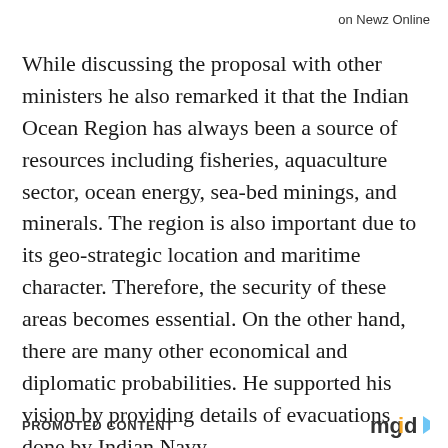on Newz Online
While discussing the proposal with other ministers he also remarked it that the Indian Ocean Region has always been a source of resources including fisheries, aquaculture sector, ocean energy, sea-bed minings, and minerals. The region is also important due to its geo-strategic location and maritime character. Therefore, the security of these areas becomes essential. On the other hand, there are many other economical and diplomatic probabilities. He supported his vision by providing details of evacuations done by Indian Navy.
PROMOTED CONTENT